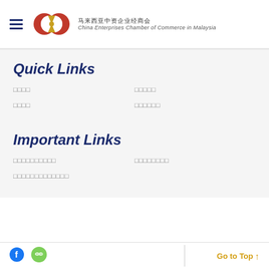[Figure (logo): China Enterprises Chamber of Commerce in Malaysia logo with red and gold emblem, Chinese text 马来西亚中资企业经商会 and English text China Enterprises Chamber of Commerce in Malaysia]
Quick Links
□□□□
□□□□□
□□□□
□□□□□□
Important Links
□□□□□□□□□□
□□□□□□□□
□□□□□□□□□□□□□
[Figure (logo): Facebook icon]
[Figure (logo): WeChat icon]
Go to Top ↑